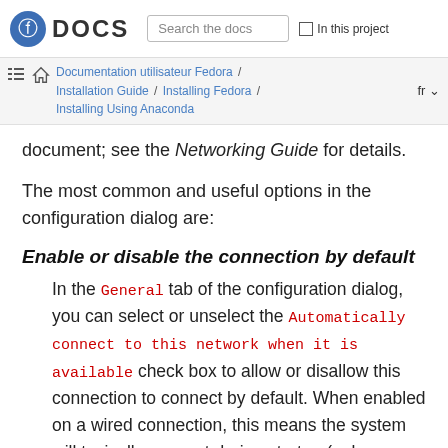Fedora DOCS | Search the docs | In this project
Documentation utilisateur Fedora / Installation Guide / Installing Fedora / Installing Using Anaconda | fr
document; see the Networking Guide for details.
The most common and useful options in the configuration dialog are:
Enable or disable the connection by default
In the General tab of the configuration dialog, you can select or unselect the Automatically connect to this network when it is available check box to allow or disallow this connection to connect by default. When enabled on a wired connection, this means the system will typically connect during startup (unless you